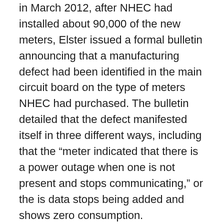in March 2012, after NHEC had installed about 90,000 of the new meters, Elster issued a formal bulletin announcing that a manufacturing defect had been identified in the main circuit board on the type of meters NHEC had purchased. The bulletin detailed that the defect manifested itself in three different ways, including that the “meter indicated that there is a power outage when one is not present and stops communicating,” or the is data stops being added and shows zero consumption.
Elster initially told NHEC that 54,000 of the 83,000 meters it had bought were affected by manufacturer defects. The suit says Elster later advised the NHEC that the problems were traced to a too small computer chip that was replaced with a larger one during the manufacturing process, and that it cured the defect. All 83,000 of the meters bought by NHEC contained the defective small